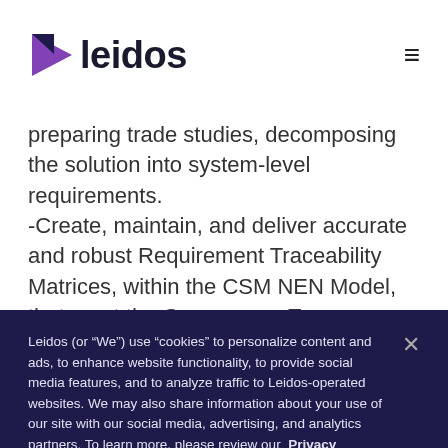[Figure (logo): Leidos company logo with purple arrow/triangle icon and 'leidos' wordmark in dark navy]
preparing trade studies, decomposing the solution into system-level requirements.
-Create, maintain, and deliver accurate and robust Requirement Traceability Matrices, within the CSM NEN Model, that meet the Governance Team standards, while
Leidos (or “We”) use “cookies” to personalize content and ads, to enhance website functionality, to provide social media features, and to analyze traffic to Leidos-operated websites. We may also share information about your use of our site with our social media, advertising, and analytics partners. To learn more, please review our Privacy Statement.
Set your cookie preferences